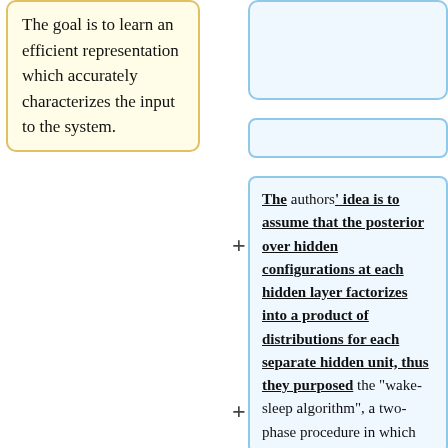The goal is to learn an efficient representation which accurately characterizes the input to the system.
The authors' idea is to assume that the posterior over hidden configurations at each hidden layer factorizes into a product of distributions for each separate hidden unit, thus they purposed the "wake-sleep algorithm", a two-phase procedure in which each network layer effectively learns representations of the activity in adjacent hidden layers. Here, the network is composed of feed-forward "recognition"